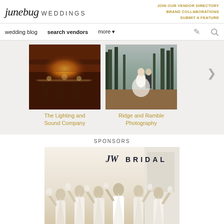junebug WEDDINGS | JOIN OUR VENDOR DIRECTORY | BRAND COLLABORATIONS | SUBMIT A FEATURE
wedding blog  search vendors  more
[Figure (photo): Wedding reception venue with warm golden lighting and long tables with floral arrangements — The Lighting and Sound Company vendor card]
The Lighting and Sound Company
[Figure (photo): Couple kissing in a forest setting with tall trees — Ridge and Ramble Photography vendor card]
Ridge and Ramble Photography
SPONSORS
[Figure (photo): JW Bridal advertisement showing a group of bridesmaids in white dresses celebrating outdoors with arms raised]